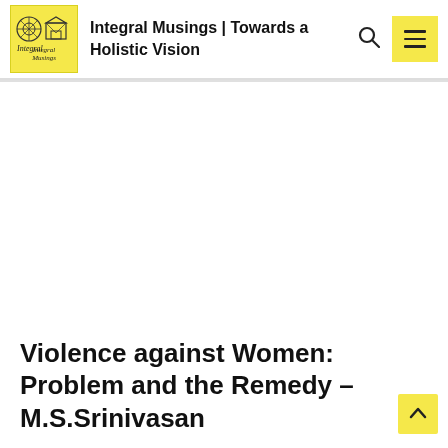Integral Musings | Towards a Holistic Vision
[Figure (logo): Integral Musings logo: yellow square with geometric mandala icons and italic text 'Integral Musings']
Violence against Women: Problem and the Remedy – M.S.Srinivasan